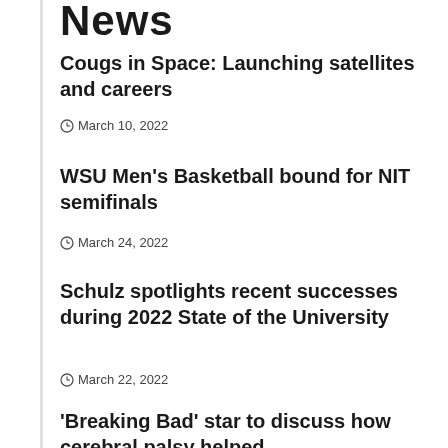News
Cougs in Space: Launching satellites and careers
March 10, 2022
WSU Men's Basketball bound for NIT semifinals
March 24, 2022
Schulz spotlights recent successes during 2022 State of the University
March 22, 2022
'Breaking Bad' star to discuss how cerebral palsy helped